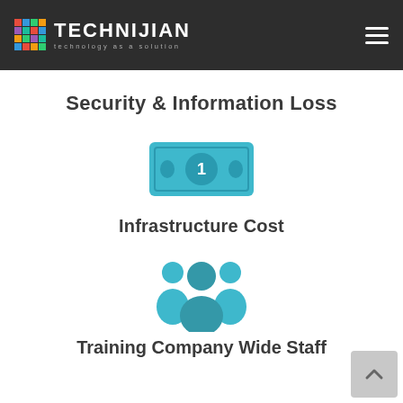Technijian – technology as a solution
Security & Information Loss
[Figure (illustration): Teal dollar bill icon with a circle containing the number 1 in the center]
Infrastructure Cost
[Figure (illustration): Teal group of people / team icon showing three figures]
Training Company Wide Staff